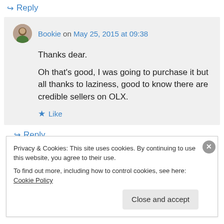↳ Reply
Bookie on May 25, 2015 at 09:38
Thanks dear.
Oh that's good, I was going to purchase it but all thanks to laziness, good to know there are credible sellers on OLX.
★ Like
↳ Reply
Privacy & Cookies: This site uses cookies. By continuing to use this website, you agree to their use.
To find out more, including how to control cookies, see here: Cookie Policy
Close and accept